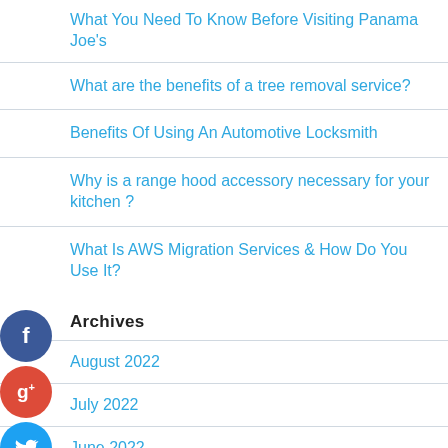What You Need To Know Before Visiting Panama Joe's
What are the benefits of a tree removal service?
Benefits Of Using An Automotive Locksmith
Why is a range hood accessory necessary for your kitchen ?
What Is AWS Migration Services & How Do You Use It?
Archives
August 2022
July 2022
June 2022
May 2022
April 2022
March 2022